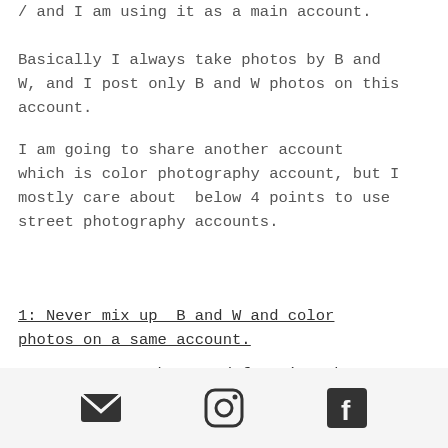/ and I am using it as a main account. Basically I always take photos by B and W, and I post only B and W photos on this account.
I am going to share another account which is color photography account, but I mostly care about below 4 points to use street photography accounts.
1: Never mix up B and W and color photos on a same account.
2: Must post 2 best and favorite photos in morning and night time.
[Figure (other): Footer bar with three social media icons: email (envelope), Instagram, and Facebook]